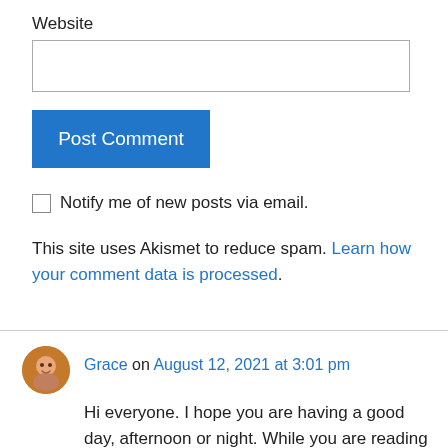Website
[Figure (screenshot): An empty text input field for Website URL]
Post Comment
Notify me of new posts via email.
This site uses Akismet to reduce spam. Learn how your comment data is processed.
Grace on August 12, 2021 at 3:01 pm
Hi everyone. I hope you are having a good day, afternoon or night. While you are reading and writing poems, we have Montreal style bagels,